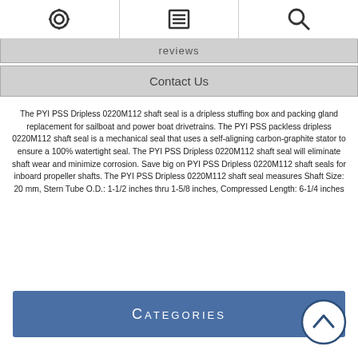[settings icon] [menu icon] [search icon]
reviews
Contact Us
The PYI PSS Dripless 0220M112 shaft seal is a dripless stuffing box and packing gland replacement for sailboat and power boat drivetrains. The PYI PSS packless dripless 0220M112 shaft seal is a mechanical seal that uses a self-aligning carbon-graphite stator to ensure a 100% watertight seal. The PYI PSS Dripless 0220M112 shaft seal will eliminate shaft wear and minimize corrosion. Save big on PYI PSS Dripless 0220M112 shaft seals for inboard propeller shafts. The PYI PSS Dripless 0220M112 shaft seal measures Shaft Size: 20 mm, Stern Tube O.D.: 1-1/2 inches thru 1-5/8 inches, Compressed Length: 6-1/4 inches
Categories